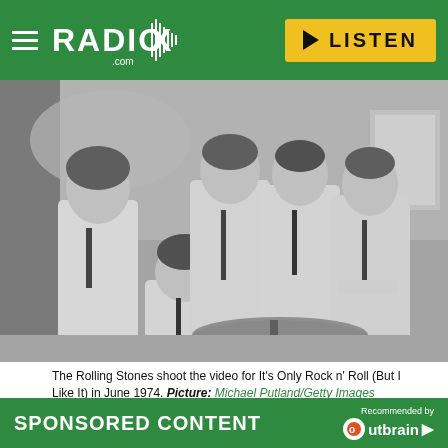RADIO X — LISTEN
[Figure (photo): Black and white photo of The Rolling Stones posing in sailor outfits during the shoot for the 'It's Only Rock n' Roll (But I Like It)' music video in June 1974. Five band members are shown, with drumkit cymbals visible in the foreground.]
The Rolling Stones shoot the video for It's Only Rock n' Roll (But I Like It) in June 1974. Picture: Michael Putland/Getty Images
SPONSORED CONTENT
Recommended by Outbrain